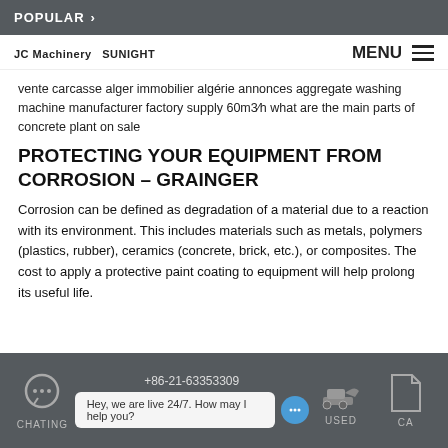POPULAR >
[Figure (logo): JC Machinery SUNIGHT logo with orange gear/cog icons and menu button]
vente carcasse alger immobilier algérie annonces aggregate washing machine manufacturer factory supply 60m3/h what are the main parts of concrete plant on sale
PROTECTING YOUR EQUIPMENT FROM CORROSION – GRAINGER
Corrosion can be defined as degradation of a material due to a reaction with its environment. This includes materials such as metals, polymers (plastics, rubber), ceramics (concrete, brick, etc.), or composites. The cost to apply a protective paint coating to equipment will help prolong its useful life.
CHATING   +86-21-63353309   Hey, we are live 24/7. How may I help you?   USED   CA...